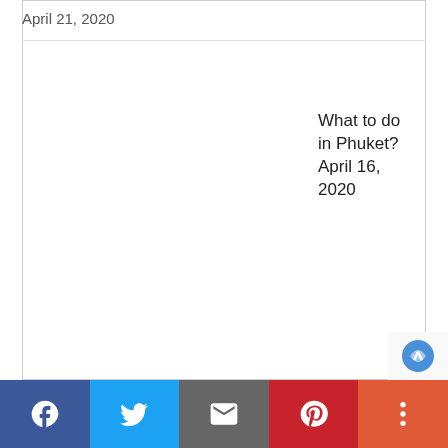April 21, 2020
What to do in Phuket?
April 16, 2020